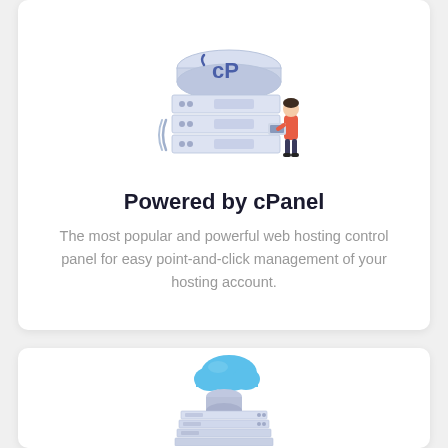[Figure (illustration): Isometric illustration of a server stack with a cPanel logo and a person using a laptop standing next to it]
Powered by cPanel
The most popular and powerful web hosting control panel for easy point-and-click management of your hosting account.
[Figure (illustration): Isometric illustration of a server stack with a blue cloud floating above it]